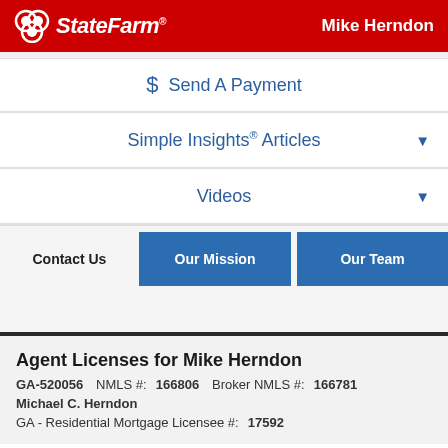State Farm — Mike Herndon
$ Send A Payment
Simple Insights® Articles
Videos
Contact Us | Our Mission | Our Team
Agent Licenses for Mike Herndon
GA-520056  NMLS #: 166806  Broker NMLS #: 166781
Michael C. Herndon
GA - Residential Mortgage Licensee #: 17592